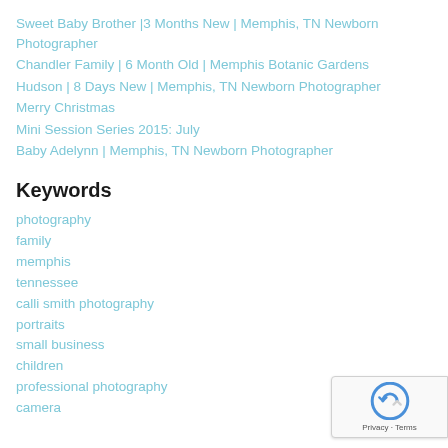Sweet Baby Brother |3 Months New | Memphis, TN Newborn Photographer
Chandler Family | 6 Month Old | Memphis Botanic Gardens
Hudson | 8 Days New | Memphis, TN Newborn Photographer
Merry Christmas
Mini Session Series 2015: July
Baby Adelynn | Memphis, TN Newborn Photographer
Keywords
photography
family
memphis
tennessee
calli smith photography
portraits
small business
children
professional photography
camera